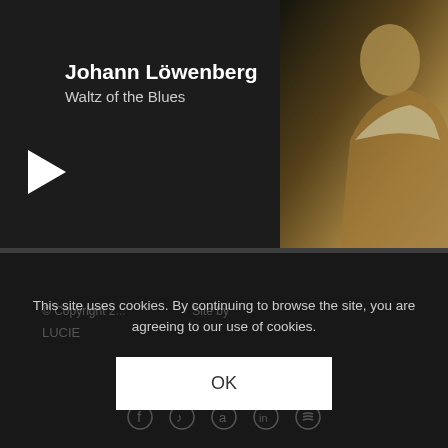[Figure (screenshot): Music player widget showing Johann Löwenberg - Waltz of the Blues album art with play button, track listing, and progress bar]
Johann Löwenberg
Waltz of the Blues
Waltz of the Blues
buy   share
by Johann Löwenberg
1.  Try Try Try   00:00 / 02:50
This site uses cookies. By continuing to browse the site, you are agreeing to our use of cookies.
OK
© Copyright 2... Site by LUCIE